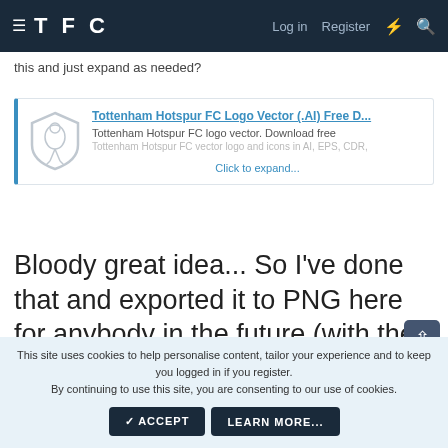TFC  Log in  Register
this and just expand as needed?
[Figure (screenshot): Link preview card for 'Tottenham Hotspur FC Logo Vector (.AI) Free D...' with Tottenham Hotspur shield logo, description text, and 'Click to expand...' link]
Bloody great idea... So I've done that and exported it to PNG here for anybody in the future (with the outer circle too)
This site uses cookies to help personalise content, tailor your experience and to keep you logged in if you register.
By continuing to use this site, you are consenting to our use of cookies.